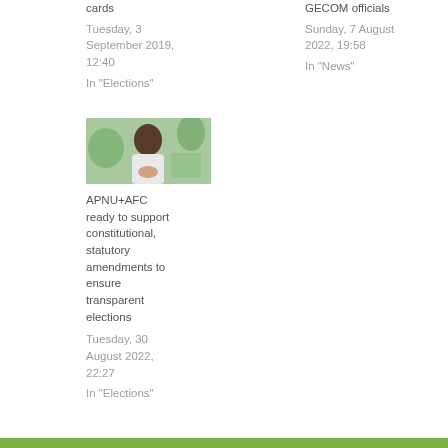cards
Tuesday, 3 September 2019, 12:40
In "Elections"
GECOM officials
Sunday, 7 August 2022, 19:58
In "News"
[Figure (photo): A man in a white shirt speaking, with a green painted mural background]
APNU+AFC ready to support constitutional, statutory amendments to ensure transparent elections
Tuesday, 30 August 2022, 22:27
In "Elections"